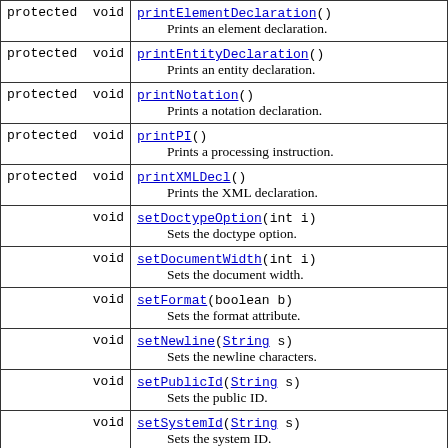| Modifier | Method and Description |
| --- | --- |
| protected  void | printElementDeclaration()
    Prints an element declaration. |
| protected  void | printEntityDeclaration()
    Prints an entity declaration. |
| protected  void | printNotation()
    Prints a notation declaration. |
| protected  void | printPI()
    Prints a processing instruction. |
| protected  void | printXMLDecl()
    Prints the XML declaration. |
| void | setDoctypeOption(int i)
    Sets the doctype option. |
| void | setDocumentWidth(int i)
    Sets the document width. |
| void | setFormat(boolean b)
    Sets the format attribute. |
| void | setNewline(String s)
    Sets the newline characters. |
| void | setPublicId(String s)
    Sets the public ID. |
| void | setSystemId(String s)
    Sets the system ID. |
| void | ... |